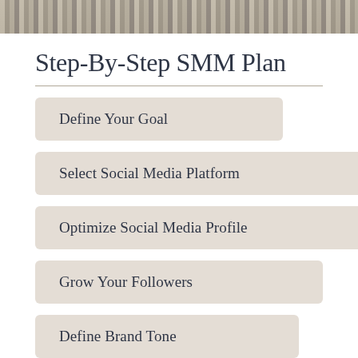[Figure (photo): Cropped photo strip showing hands on a laptop keyboard]
Step-By-Step SMM Plan
Define Your Goal
Select Social Media Platform
Optimize Social Media Profile
Grow Your Followers
Define Brand Tone